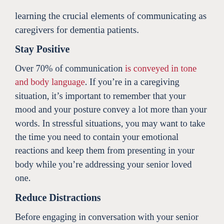learning the crucial elements of communicating as caregivers for dementia patients.
Stay Positive
Over 70% of communication is conveyed in tone and body language. If you’re in a caregiving situation, it’s important to remember that your mood and your posture convey a lot more than your words. In stressful situations, you may want to take the time you need to contain your emotional reactions and keep them from presenting in your body while you’re addressing your senior loved one.
Reduce Distractions
Before engaging in conversation with your senior loved one, it’s best to reduce external distractions. Turn